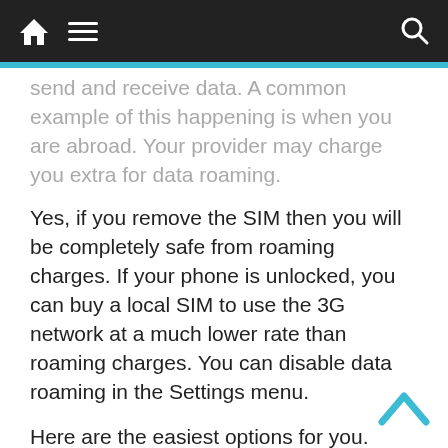Navigation bar with home, menu, and search icons
send and receive data. A common example of this happening is when you are abroad. Your provider may charge you extra for data roaming.
Yes, if you remove the SIM then you will be completely safe from roaming charges. If your phone is unlocked, you can buy a local SIM to use the 3G network at a much lower rate than roaming charges. You can disable data roaming in the Settings menu.
Here are the easiest options for you.
Put your phone in aeroplane mode. Use it only (apart from features like the camera) when you can connect to Wi-Fi
Get an international plan. Each phone carrier offers its customers international plans, which